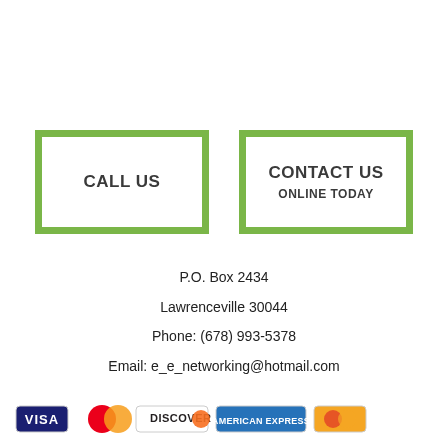[Figure (other): Two green-bordered call-to-action boxes: 'CALL US' and 'CONTACT US / ONLINE TODAY']
P.O. Box 2434
Lawrenceville 30044
Phone: (678) 993-5378
Email: e_e_networking@hotmail.com
[Figure (logo): Payment method logos: Visa, Mastercard, Discover, American Express, and another card]